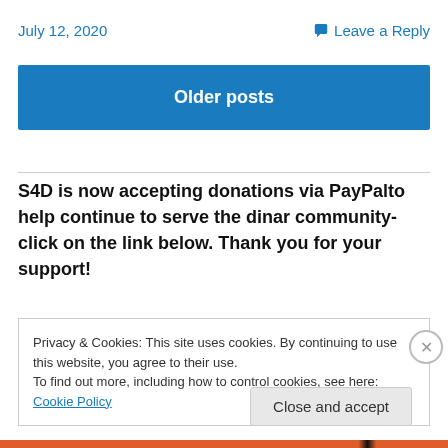July 12, 2020
Leave a Reply
Older posts
S4D is now accepting donations via PayPalto help continue to serve the dinar community- click on the link below. Thank you for your support!
Privacy & Cookies: This site uses cookies. By continuing to use this website, you agree to their use.
To find out more, including how to control cookies, see here: Cookie Policy
Close and accept